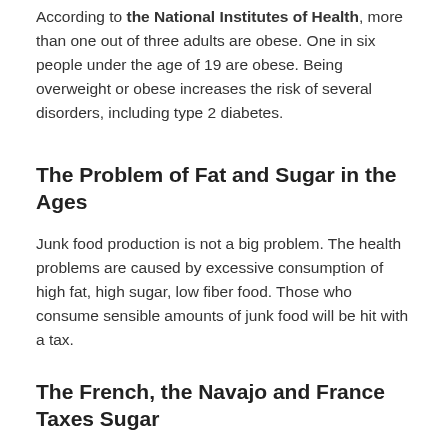According to the National Institutes of Health, more than one out of three adults are obese. One in six people under the age of 19 are obese. Being overweight or obese increases the risk of several disorders, including type 2 diabetes.
The Problem of Fat and Sugar in the Ages
Junk food production is not a big problem. The health problems are caused by excessive consumption of high fat, high sugar, low fiber food. Those who consume sensible amounts of junk food will be hit with a tax.
The French, the Navajo and France Taxes Sugar
Many public health experts believe that